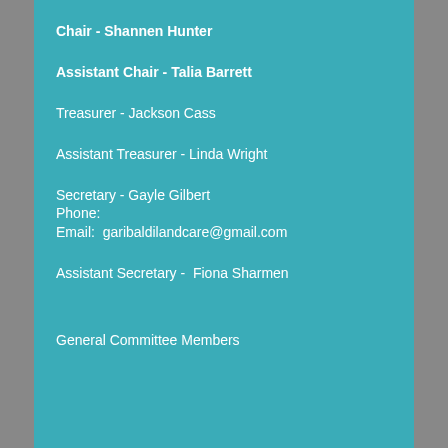Chair - Shannen Hunter
Assistant Chair - Talia Barrett
Treasurer - Jackson Cass
Assistant Treasurer - Linda Wright
Secretary - Gayle Gilbert
Phone:
Email:  garibaldilandcare@gmail.com
Assistant Secretary -  Fiona Sharmen
General Committee Members